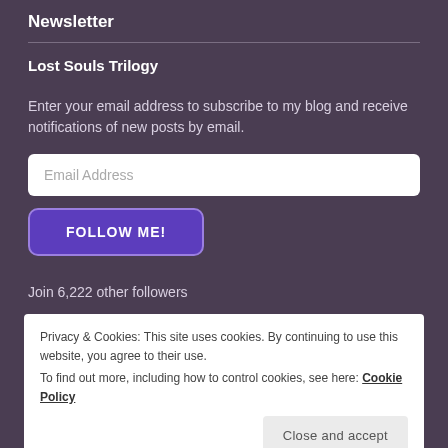Newsletter
Lost Souls Trilogy
Enter your email address to subscribe to my blog and receive notifications of new posts by email.
Email Address
FOLLOW ME!
Join 6,222 other followers
Privacy & Cookies: This site uses cookies. By continuing to use this website, you agree to their use.
To find out more, including how to control cookies, see here: Cookie Policy
Close and accept